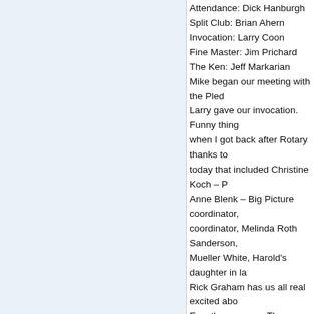Attendance: Dick Hanburgh
Split Club: Brian Ahern
Invocation: Larry Coon
Fine Master: Jim Prichard
The Ken: Jeff Markarian
Mike began our meeting with the Pledge...
Larry gave our invocation. Funny thing when I got back after Rotary thanks to today that included Christine Koch – P Anne Blenk – Big Picture coordinator, coordinator, Melinda Roth Sanderson, Mueller White, Harold's daughter in law Rick Graham has us all real excited about Event's revenues. There are many sponsors seats sold. Please drop the baskets off w also on track with Shred-It. Please help signup sheet or contact Scott at smason... MandT bank has a large electronic sign thanked me and Gretchen for hosting the group at the house.
Jim Prichard was fine master today. Pa varieties of pies at the gift gathering pa who admitted to having a piece of pie a Appropriately with all this giving back with the Variety Club telethon just endi Variety Club. We learned some neat tri Ron Levea won the split club and, yes, still in the deck I might add. Chuck Pa Jim Prichard won the second. FYI b